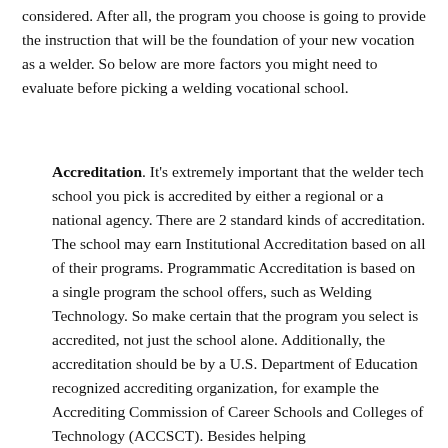considered. After all, the program you choose is going to provide the instruction that will be the foundation of your new vocation as a welder. So below are more factors you might need to evaluate before picking a welding vocational school.
Accreditation. It's extremely important that the welder tech school you pick is accredited by either a regional or a national agency. There are 2 standard kinds of accreditation. The school may earn Institutional Accreditation based on all of their programs. Programmatic Accreditation is based on a single program the school offers, such as Welding Technology. So make certain that the program you select is accredited, not just the school alone. Additionally, the accreditation should be by a U.S. Department of Education recognized accrediting organization, for example the Accrediting Commission of Career Schools and Colleges of Technology (ACCSCT). Besides helping